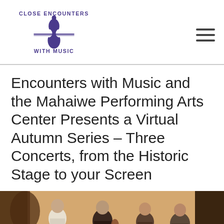Close Encounters With Music (logo)
Encounters with Music and the Mahaiwe Performing Arts Center Presents a Virtual Autumn Series – Three Concerts, from the Historic Stage to your Screen
[Figure (photo): Musicians seated with string instruments (violins/violas) in an ornate venue interior]